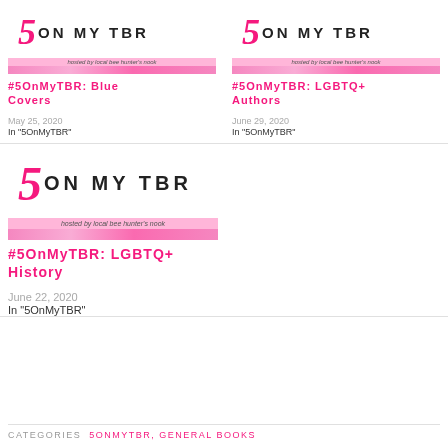[Figure (illustration): 5 ON MY TBR blog logo with pink number 5, text ON MY TBR, hosted by local bee hunter's nook, and pink flower bar]
#5OnMyTBR: Blue Covers
May 25, 2020
In "5OnMyTBR"
[Figure (illustration): 5 ON MY TBR blog logo with pink number 5, text ON MY TBR, hosted by local bee hunter's nook, and pink flower bar]
#5OnMyTBR: LGBTQ+ Authors
June 29, 2020
In "5OnMyTBR"
[Figure (illustration): 5 ON MY TBR blog logo with pink number 5, text ON MY TBR, hosted by local bee hunter's nook, and pink flower bar]
#5OnMyTBR: LGBTQ+ History
June 22, 2020
In "5OnMyTBR"
CATEGORIES  5ONMYTBR, GENERAL BOOKS